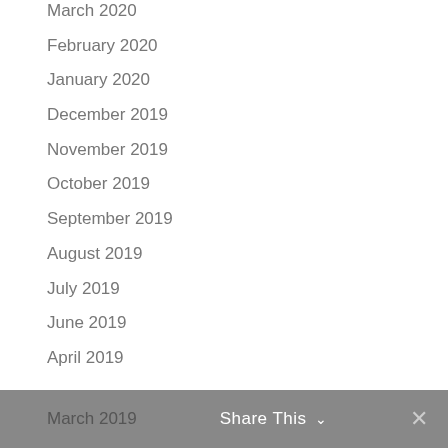March 2020
February 2020
January 2020
December 2019
November 2019
October 2019
September 2019
August 2019
July 2019
June 2019
April 2019
March 2019   Share This ∨   ✕